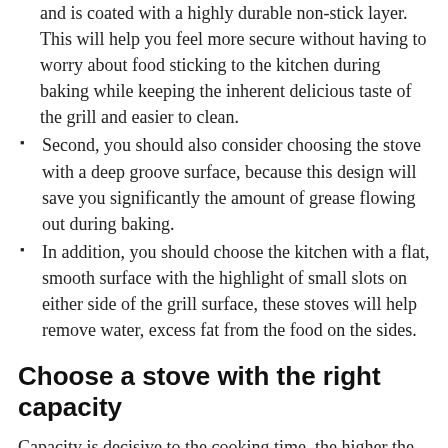and is coated with a highly durable non-stick layer. This will help you feel more secure without having to worry about food sticking to the kitchen during baking while keeping the inherent delicious taste of the grill and easier to clean.
Second, you should also consider choosing the stove with a deep groove surface, because this design will save you significantly the amount of grease flowing out during baking.
In addition, you should choose the kitchen with a flat, smooth surface with the highlight of small slots on either side of the grill surface, these stoves will help remove water, excess fat from the food on the sides.
Choose a stove with the right capacity
Capacity is decisive to the cooking time, the higher the capacity, the faster the cooking time and the more crunch than the low capacity cookers.
As for the smokeless grill, you can choose a stove with a capacity of between 1200W and 2000W.